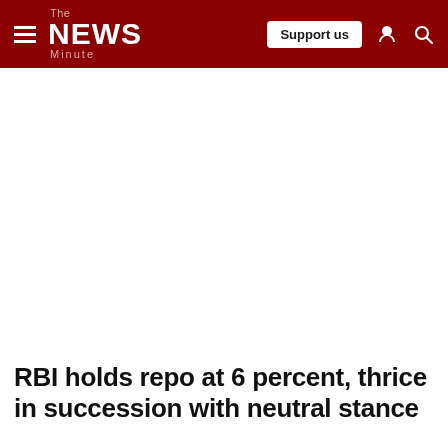The News Minute — Support us
RBI holds repo at 6 percent, thrice in succession with neutral stance